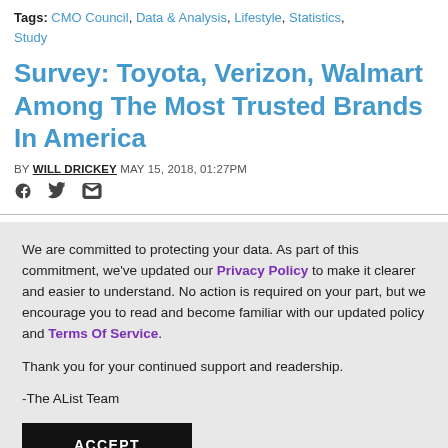Tags: CMO Council, Data & Analysis, Lifestyle, Statistics, Study
Survey: Toyota, Verizon, Walmart Among The Most Trusted Brands In America
BY WILL DRICKEY MAY 15, 2018, 01:27PM
[Figure (other): Social share icons: Facebook, Twitter, Email]
We are committed to protecting your data. As part of this commitment, we've updated our Privacy Policy to make it clearer and easier to understand. No action is required on your part, but we encourage you to read and become familiar with our updated policy and Terms Of Service.

Thank you for your continued support and readership.

-The AList Team